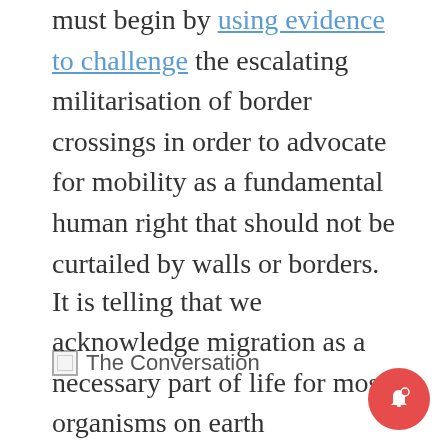must begin by using evidence to challenge the escalating militarisation of border crossings in order to advocate for mobility as a fundamental human right that should not be curtailed by walls or borders.
[Figure (logo): Broken image placeholder labeled 'The Conversation']
It is telling that we acknowledge migration as a necessary part of life for most organisms on earth